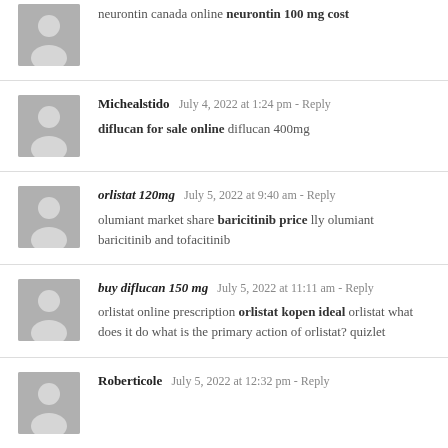neurontin canada online neurontin 100 mg cost
Michealstido  July 4, 2022 at 1:24 pm - Reply
diflucan for sale online diflucan 400mg
orlistat 120mg  July 5, 2022 at 9:40 am - Reply
olumiant market share baricitinib price lly olumiant baricitinib and tofacitinib
buy diflucan 150 mg  July 5, 2022 at 11:11 am - Reply
orlistat online prescription orlistat kopen ideal orlistat what does it do what is the primary action of orlistat? quizlet
Roberticole  July 5, 2022 at 12:32 pm - Reply